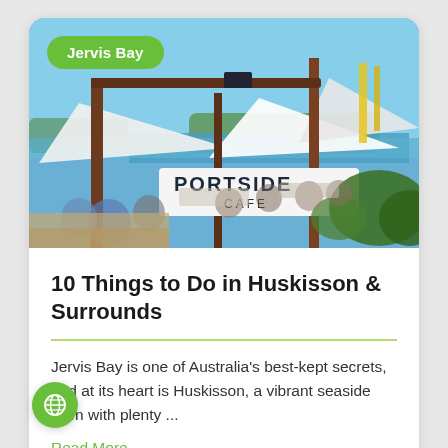[Figure (photo): Outdoor cafe scene at Portside Cafe with people dining under white shade sails, overlooking Jervis Bay waterfront on a sunny day.]
10 Things to Do in Huskisson & Surrounds
Jervis Bay is one of Australia’s best-kept secrets, and at its heart is Huskisson, a vibrant seaside town with plenty ...
Read More